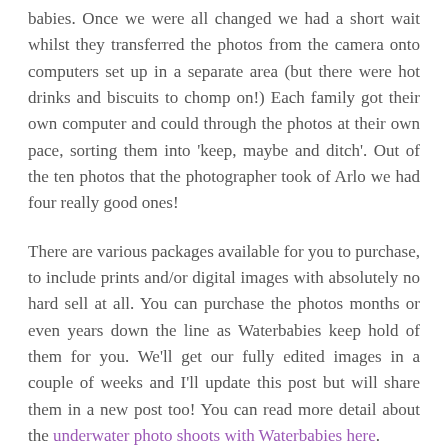babies. Once we were all changed we had a short wait whilst they transferred the photos from the camera onto computers set up in a separate area (but there were hot drinks and biscuits to chomp on!) Each family got their own computer and could through the photos at their own pace, sorting them into 'keep, maybe and ditch'. Out of the ten photos that the photographer took of Arlo we had four really good ones!

There are various packages available for you to purchase, to include prints and/or digital images with absolutely no hard sell at all. You can purchase the photos months or even years down the line as Waterbabies keep hold of them for you. We'll get our fully edited images in a couple of weeks and I'll update this post but will share them in a new post too! You can read more detail about the underwater photo shoots with Waterbabies here.

The shoot was included in the first term of lessons, and to get a truly 'Nirvana'esque shot it's recommended that your